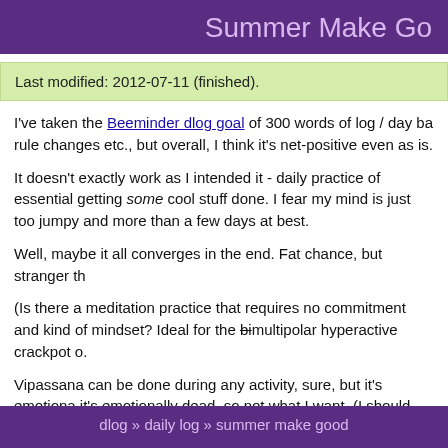Summer Make Go
Last modified: 2012-07-11 (finished).
I've taken the Beeminder dlog goal of 300 words of log / day ba rule changes etc., but overall, I think it's net-positive even as is.
It doesn't exactly work as I intended it - daily practice of essential getting some cool stuff done. I fear my mind is just too jumpy and more than a few days at best.
Well, maybe it all converges in the end. Fat chance, but stranger th
(Is there a meditation practice that requires no commitment and kind of mindset? Ideal for the bimultipolar hyperactive crackpot o.
Vipassana can be done during any activity, sure, but it's emotiona it's emotionally dead, so not what I want. (I should finally read th yeah…))
dlog » daily log » summer make good